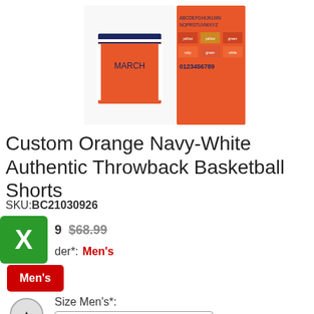[Figure (photo): Product image of custom orange basketball shorts with navy-white trim, alongside a color/font reference chart on orange background]
Custom Orange Navy-White Authentic Throwback Basketball Shorts
SKU:BC21030926
$68.99 (strikethrough price)
Gender*: Men's
Men's (button)
Size Men's*:
Choose one
Team Name: